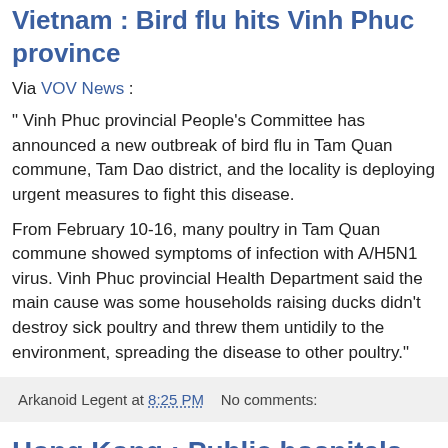Vietnam : Bird flu hits Vinh Phuc province
Via VOV News :
" Vinh Phuc provincial People's Committee has announced a new outbreak of bird flu in Tam Quan commune, Tam Dao district, and the locality is deploying urgent measures to fight this disease.
From February 10-16, many poultry in Tam Quan commune showed symptoms of infection with A/H5N1 virus. Vinh Phuc provincial Health Department said the main cause was some households raising ducks didn't destroy sick poultry and threw them untidily to the environment, spreading the disease to other poultry."
Arkanoid Legent at 8:25 PM   No comments:
Hong Kong : Public hospitals announce